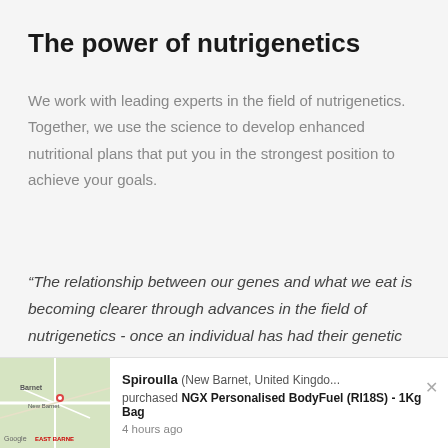The power of nutrigenetics
We work with leading experts in the field of nutrigenetics. Together, we use the science to develop enhanced nutritional plans that put you in the strongest position to achieve your goals.
“The relationship between our genes and what we eat is becoming clearer through advances in the field of nutrigenetics - once an individual has had their genetic profile determined, they can optimise their daily
[Figure (screenshot): Notification popup showing a Google map thumbnail of Barnet/New Barnet area, with text: Spiroulla (New Barnet, United Kingdo...) purchased NGX Personalised BodyFuel (RI18S) - 1Kg Bag, 4 hours ago. Close button (x) in top right.]